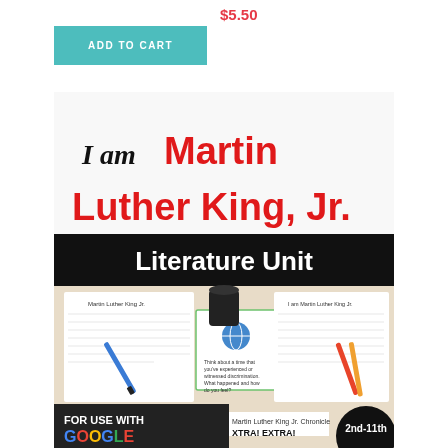$5.50
ADD TO CART
[Figure (illustration): Product thumbnail showing 'I am Martin Luther King, Jr. Literature Unit' educational resource book cover with worksheets and google compatibility badge, for grades 2nd-11th]